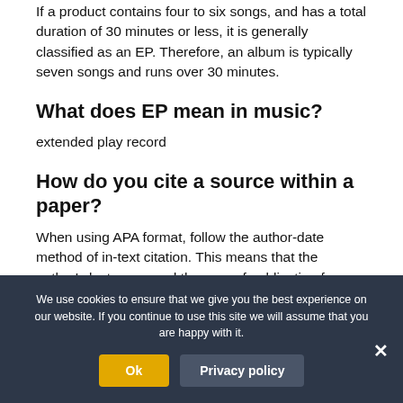If a product contains four to six songs, and has a total duration of 30 minutes or less, it is generally classified as an EP. Therefore, an album is typically seven songs and runs over 30 minutes.
What does EP mean in music?
extended play record
How do you cite a source within a paper?
When using APA format, follow the author-date method of in-text citation. This means that the author's last name and the year of publication for
We use cookies to ensure that we give you the best experience on our website. If you continue to use this site we will assume that you are happy with it.